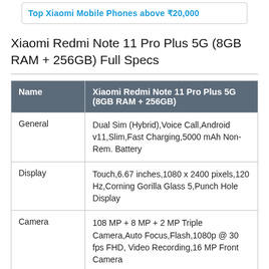Top Xiaomi Mobile Phones above ₹20,000
Xiaomi Redmi Note 11 Pro Plus 5G (8GB RAM + 256GB) Full Specs
| Name | Xiaomi Redmi Note 11 Pro Plus 5G (8GB RAM + 256GB) |
| --- | --- |
| General | Dual Sim (Hybrid),Voice Call,Android v11,Slim,Fast Charging,5000 mAh Non-Rem. Battery |
| Display | Touch,6.67 inches,1080 x 2400 pixels,120 Hz,Corning Gorilla Glass 5,Punch Hole Display |
| Camera | 108 MP + 8 MP + 2 MP Triple Camera,Auto Focus,Flash,1080p @ 30 fps FHD, Video Recording,16 MP Front Camera |
| Technical | Snapdragon 695 Chipset,2.2 GHz, Octa Core... |